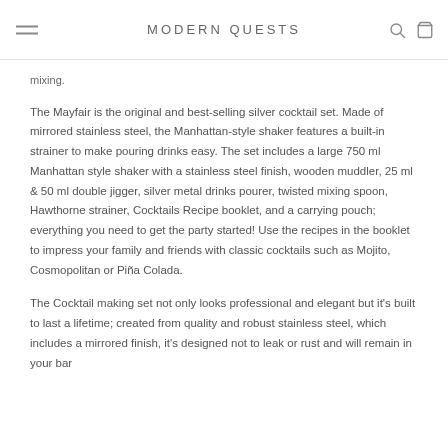MODERN QUESTS
mixing.
The Mayfair is the original and best-selling silver cocktail set. Made of mirrored stainless steel, the Manhattan-style shaker features a built-in strainer to make pouring drinks easy. The set includes a large 750 ml Manhattan style shaker with a stainless steel finish, wooden muddler, 25 ml & 50 ml double jigger, silver metal drinks pourer, twisted mixing spoon, Hawthorne strainer, Cocktails Recipe booklet, and a carrying pouch; everything you need to get the party started! Use the recipes in the booklet to impress your family and friends with classic cocktails such as Mojito, Cosmopolitan or Piña Colada.
The Cocktail making set not only looks professional and elegant but it's built to last a lifetime; created from quality and robust stainless steel, which includes a mirrored finish, it's designed not to leak or rust and will remain in your bar